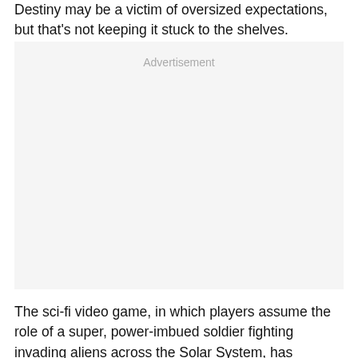Destiny may be a victim of oversized expectations, but that's not keeping it stuck to the shelves.
[Figure (other): Advertisement placeholder box with light gray background]
The sci-fi video game, in which players assume the role of a super, power-imbued soldier fighting invading aliens across the Solar System, has amassed $325 million in sales in its first five days, the game's